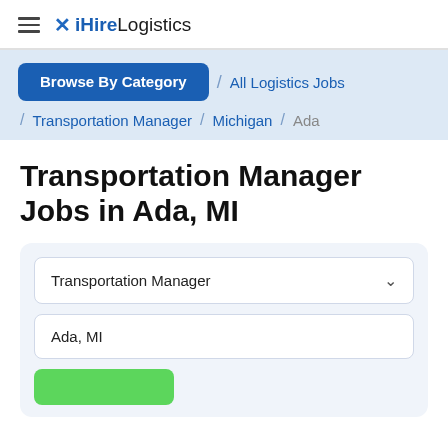≡ ✕ iHireLogistics
Browse By Category / All Logistics Jobs / Transportation Manager / Michigan / Ada
Transportation Manager Jobs in Ada, MI
Transportation Manager [dropdown]
Ada, MI [location field]